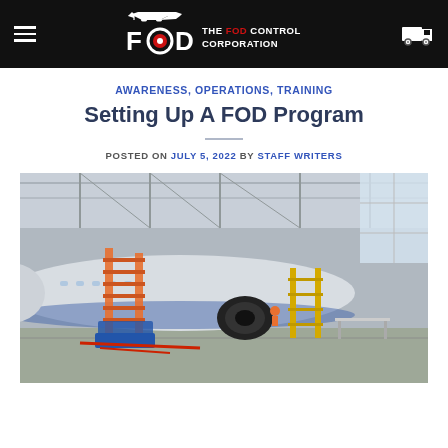THE FOD CONTROL CORPORATION
AWARENESS, OPERATIONS, TRAINING
Setting Up A FOD Program
POSTED ON JULY 5, 2022 BY STAFF WRITERS
[Figure (photo): An aircraft in a maintenance hangar with stairs/scaffolding attached, workers visible, large industrial hangar with steel roof trusses and natural lighting.]